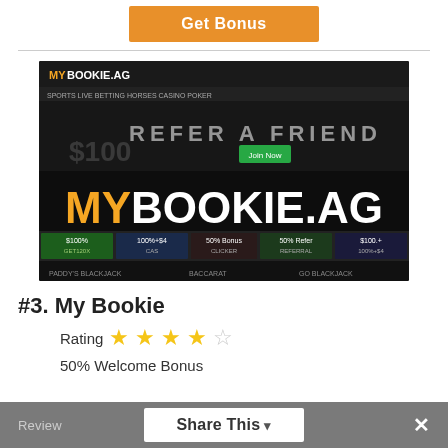[Figure (screenshot): Orange Get Bonus button on white background]
[Figure (screenshot): MyBookie.ag website screenshot showing the logo, Refer a Friend banner, and casino game promotions]
#3. My Bookie
Rating ★★★★☆
50% Welcome Bonus
Share This